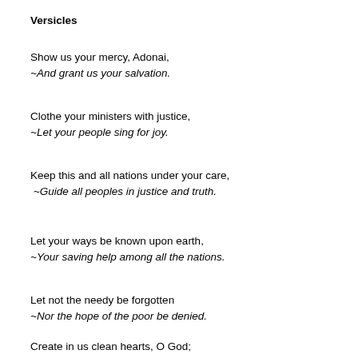Versicles
Show us your mercy, Adonai,
~And grant us your salvation.
Clothe your ministers with justice,
~Let your people sing for joy.
Keep this and all nations under your care,
 ~Guide all peoples in justice and truth.
Let your ways be known upon earth,
~Your saving help among all the nations.
Let not the needy be forgotten
~Nor the hope of the poor be denied.
Create in us clean hearts, O God;
~ And fill us with your Holy Spirit.